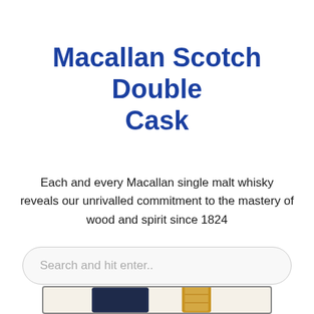Macallan Scotch Double Cask
Each and every Macallan single malt whisky reveals our unrivalled commitment to the mastery of wood and spirit since 1824
Search and hit enter..
[Figure (photo): Product image showing a dark navy box and a gold bottle cap/top for Macallan Scotch Double Cask whisky, partially visible at the bottom of the page]